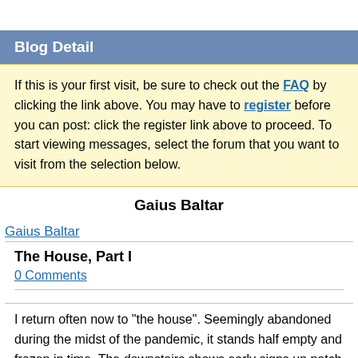Blog Detail
If this is your first visit, be sure to check out the FAQ by clicking the link above. You may have to register before you can post: click the register link above to proceed. To start viewing messages, select the forum that you want to visit from the selection below.
Gaius Baltar
Gaius Baltar
The House, Part I
0 Comments
I return often now to "the house". Seemingly abandoned during the midst of the pandemic, it stands half empty and frozen in time. The downstairs shows early signs up patch work and painting, while the upstairs is essentially